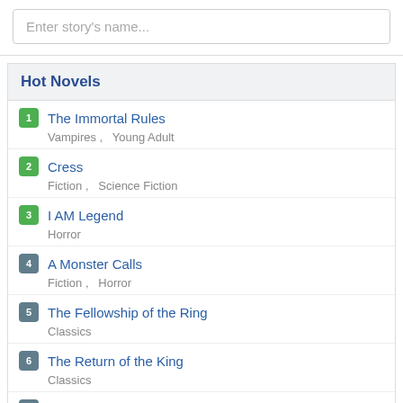Enter story's name...
Hot Novels
1. The Immortal Rules — Vampires, Young Adult
2. Cress — Fiction, Science Fiction
3. I AM Legend — Horror
4. A Monster Calls — Fiction, Horror
5. The Fellowship of the Ring — Classics
6. The Return of the King — Classics
7. The Hobbit — Classics
8. A Thousand Splendid Suns